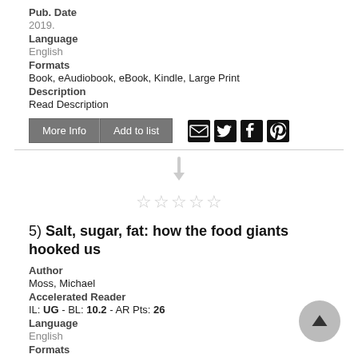Pub. Date
2019.
Language
English
Formats
Book, eAudiobook, eBook, Kindle, Large Print
Description
Read Description
[Figure (infographic): Two buttons labeled 'More Info' and 'Add to list', followed by social media icons for email, Twitter, Facebook, and Pinterest]
[Figure (infographic): Rating widget with a down-arrow icon and five empty stars]
5)  Salt, sugar, fat: how the food giants hooked us
Author
Moss, Michael
Accelerated Reader
IL: UG - BL: 10.2 - AR Pts: 26
Language
English
Formats